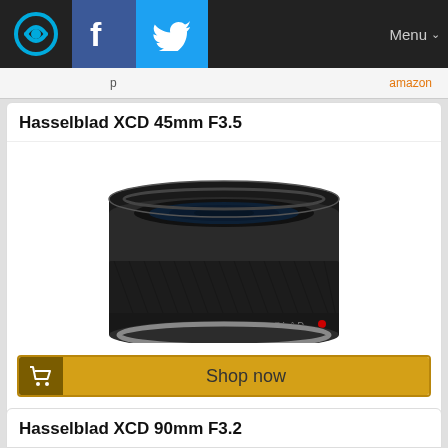Menu
Hasselblad XCD 45mm F3.5
[Figure (photo): Hasselblad XCD 45mm F3.5 lens, black, front/side view on white background]
Shop now
Hasselblad H-3025045 XCD 45mm f/3.5 Len for X1D Camera, Black  $2,695.00  Shop now
Hasselblad XCD 90mm F3.2